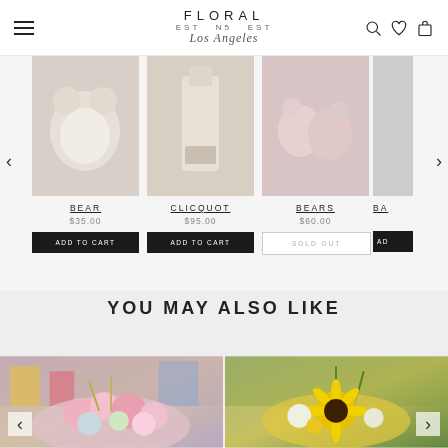FLORAL N5 Los Angeles — navigation header with menu, logo, and icons
[Figure (photo): Product carousel showing: BEAR $35.00, CLICQUOT $95.00, BEARS $60.00 (SOLD OUT), and partial fourth item. Left and right carousel navigation arrows visible.]
YOU MAY ALSO LIKE
[Figure (photo): Two flower arrangement photos side by side with carousel arrows. Left: pink and pastel mixed flower arrangement. Right: yellow sunflower arrangement.]